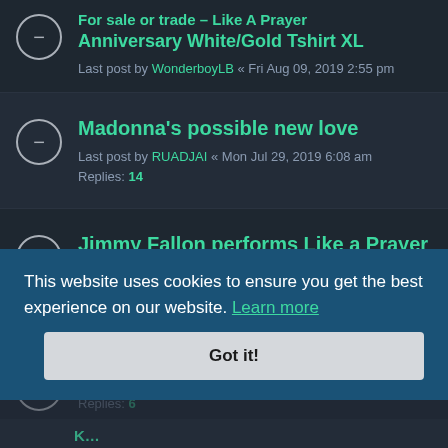For sale or trade – Like A Prayer Anniversary White/Gold Tshirt XL
Last post by WonderboyLB « Fri Aug 09, 2019 2:55 pm
Madonna's possible new love
Last post by RUADJAI « Mon Jul 29, 2019 6:08 am
Replies: 14
Jimmy Fallon performs Like a Prayer on some show
Last post by philip_roth « Sat Jul 27, 2019 8:56 pm
Replies: 4
LAP demos discussion
Last post by frozen78 « Fri Jul 26, 2019 4:41 pm
Replies: 6
This website uses cookies to ensure you get the best experience on our website. Learn more
Got it!